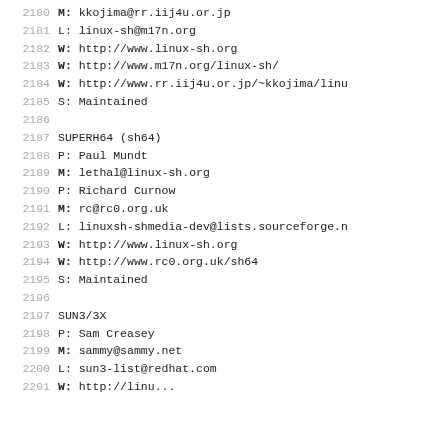2180    M:        kkojima@rr.iij4u.or.jp
2181    L:        linux-sh@m17n.org
2182    W:        http://www.linux-sh.org
2183    W:        http://www.m17n.org/linux-sh/
2184    W:        http://www.rr.iij4u.or.jp/~kkojima/linu
2185    S:        Maintained
2186
2187    SUPERH64 (sh64)
2188    P:        Paul Mundt
2189    M:        lethal@linux-sh.org
2190    P:        Richard Curnow
2191    M:        rc@rc0.org.uk
2192    L:        linuxsh-shmedia-dev@lists.sourceforge.n
2193    W:        http://www.linux-sh.org
2194    W:        http://www.rc0.org.uk/sh64
2195    S:        Maintained
2196
2197    SUN3/3X
2198    P:        Sam Creasey
2199    M:        sammy@sammy.net
2200    L:        sun3-list@redhat.com
2201    W:        http://...